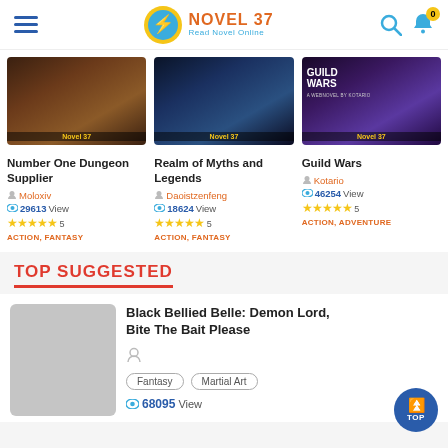NOVEL 37 - Read Novel Online
[Figure (screenshot): Book cover for Number One Dungeon Supplier with Novel 37 watermark]
Number One Dungeon Supplier
Moloxiv | 29613 View | ★★★★★ 5 | ACTION, FANTASY
[Figure (screenshot): Book cover for Realm of Myths and Legends with Novel 37 watermark]
Realm of Myths and Legends
Daoistzenfeng | 18624 View | ★★★★★ 5 | ACTION, FANTASY
[Figure (screenshot): Book cover for Guild Wars with Novel 37 watermark]
Guild Wars
Kotario | 46254 View | ★★★★★ 5 | ACTION, ADVENTURE
TOP SUGGESTED
[Figure (illustration): Gray placeholder book cover image]
Black Bellied Belle: Demon Lord, Bite The Bait Please
Fantasy | Martial Art | 68095 View